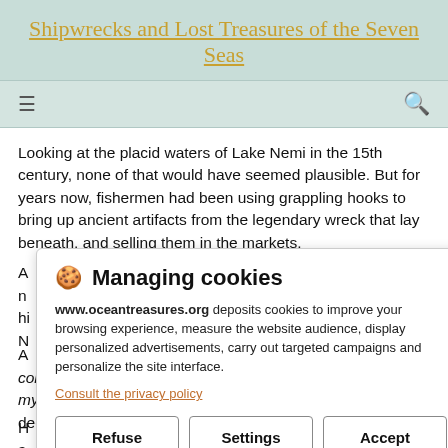Shipwrecks and Lost Treasures of the Seven Seas
Looking at the placid waters of Lake Nemi in the 15th century, none of that would have seemed plausible. But for years now, fishermen had been using grappling hooks to bring up ancient artifacts from the legendary wreck that lay beneath, and selling them in the markets.
A... n... hi... N...
H... a... d... s...
[Figure (screenshot): Cookie consent popup overlay with title 'Managing cookies', body text about www.oceantreasures.org depositing cookies, a link 'Consult the privacy policy', and three buttons: Refuse, Settings, Accept]
A... co... that the wreck existed, but from there the mystery only deepened.